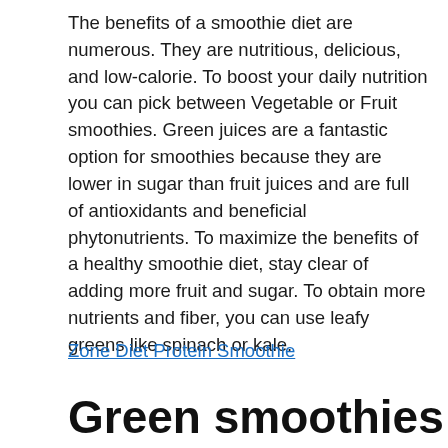The benefits of a smoothie diet are numerous. They are nutritious, delicious, and low-calorie. To boost your daily nutrition you can pick between Vegetable or Fruit smoothies. Green juices are a fantastic option for smoothies because they are lower in sugar than fruit juices and are full of antioxidants and beneficial phytonutrients. To maximize the benefits of a healthy smoothie diet, stay clear of adding more fruit and sugar. To obtain more nutrients and fiber, you can use leafy greens like spinach or kale.
Zone Diet Protein Smoothie
Green smoothies